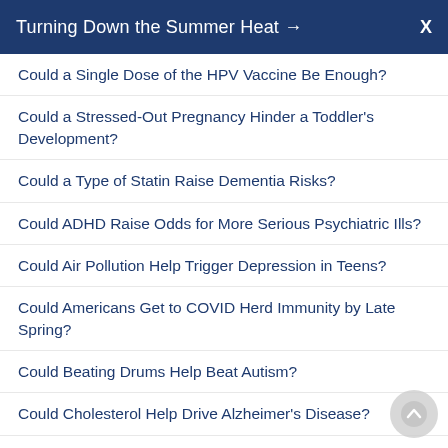Turning Down the Summer Heat →  X
Could a Single Dose of the HPV Vaccine Be Enough?
Could a Stressed-Out Pregnancy Hinder a Toddler's Development?
Could a Type of Statin Raise Dementia Risks?
Could ADHD Raise Odds for More Serious Psychiatric Ills?
Could Air Pollution Help Trigger Depression in Teens?
Could Americans Get to COVID Herd Immunity by Late Spring?
Could Beating Drums Help Beat Autism?
Could Cholesterol Help Drive Alzheimer's Disease?
Could Coffee Help Lower Your Odds for Alzheimer's?
Could Coffee, Veggies Lower Your Odds for COVID-19?
Could COVID Be Eradicated Someday? Maybe, Experts